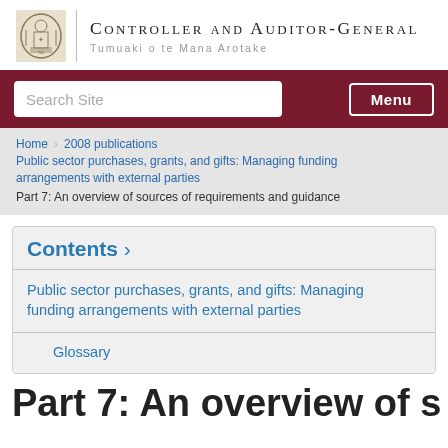Controller and Auditor-General | Tumuaki o te Mana Arotake
Search Site | Menu
Home > 2008 publications > Public sector purchases, grants, and gifts: Managing funding arrangements with external parties > Part 7: An overview of sources of requirements and guidance
Contents ›
Public sector purchases, grants, and gifts: Managing funding arrangements with external parties
Glossary
Part 7: An overview of s